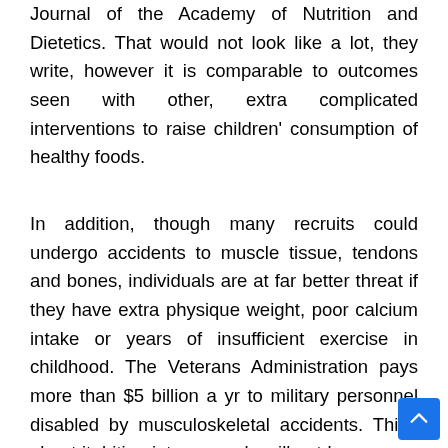Journal of the Academy of Nutrition and Dietetics. That would not look like a lot, they write, however it is comparable to outcomes seen with other, extra complicated interventions to raise children' consumption of healthy foods.
In addition, though many recruits could undergo accidents to muscle tissue, tendons and bones, individuals are at far better threat if they have extra physique weight, poor calcium intake or years of insufficient exercise in childhood. The Veterans Administration pays more than $5 billion a yr to military personnel disabled by musculoskeletal accidents. Think about it, biting into an apple will not be as easy as selecting a sliced apple and eating it, and if in case you have braces you're not